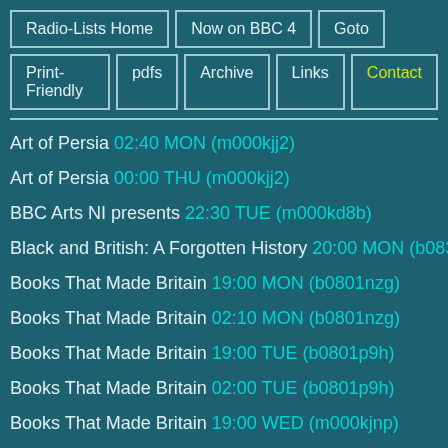Radio-Lists Home | Now on BBC 4 | Goto | Print-Friendly | pdfs | Archive | Links | Contact
Art of Persia 02:40 MON (m000kjj2)
Art of Persia 00:00 THU (m000kjj2)
BBC Arts NI presents 22:30 TUE (m000kd8b)
Black and British: A Forgotten History 20:00 MON (b083rb2v)
Books That Made Britain 19:00 MON (b0801nzg)
Books That Made Britain 02:10 MON (b0801nzg)
Books That Made Britain 19:00 TUE (b0801p9h)
Books That Made Britain 02:00 TUE (b0801p9h)
Books That Made Britain 19:00 WED (m000kjnp)